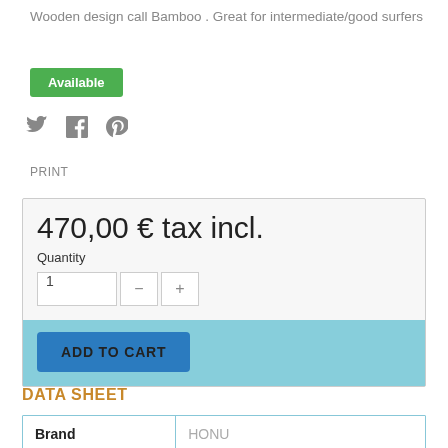Wooden design call Bamboo . Great for intermediate/good surfers
Available
[Figure (other): Social media share icons: Twitter bird, Facebook f, Pinterest pin]
PRINT
470,00 € tax incl.
Quantity
ADD TO CART
DATA SHEET
| Brand |  |
| --- | --- |
| Brand | HONU |